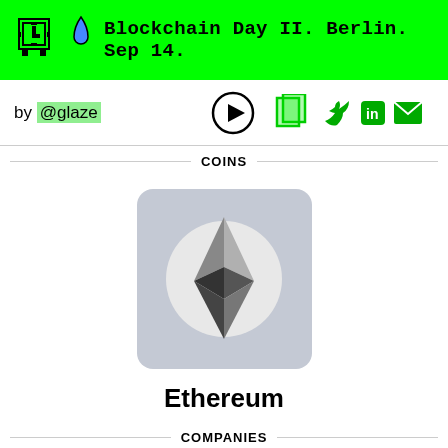Blockchain Day II. Berlin. Sep 14.
by @glaze
COINS
[Figure (logo): Ethereum logo: diamond/gem shaped icon in dark grey on a circular grey background, inside a light grey rounded square]
Ethereum
COMPANIES
[Figure (logo): Partial view of a company logo icon, light grey rounded square, cut off at bottom of page]